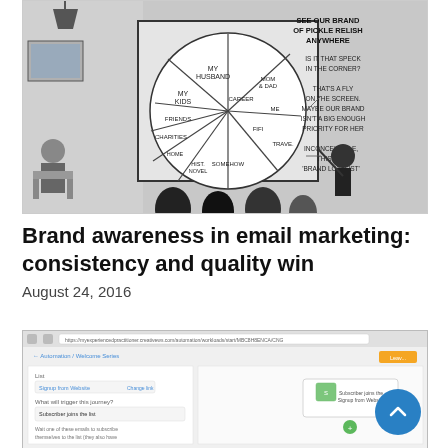[Figure (illustration): Black and white cartoon/comic strip showing a presentation with a pie chart labeled with segments like 'My Kids', 'My Husband', 'Mom & Dad', 'Career', 'Me', 'Fifi', 'Travel', 'Friends', 'Charities', 'Home', 'Historical Novel', 'Somehow'. Text on the right reads: 'See our brand of pickle relish anywhere', 'Is it that speck in the corner?', 'That's a fly on the screen. Maybe our brand isn't a big enough priority for her', 'Inconceivable, this is a brand loyalist'. Audience silhouettes visible at bottom.]
Brand awareness in email marketing: consistency and quality win
August 24, 2016
[Figure (screenshot): Screenshot of a web application showing an email automation workflow. URL bar visible at top. Shows 'Automation / Welcome Series' breadcrumb. Left panel shows 'List' field with 'Signup from Website' and 'What will trigger this journey?' with 'Subscriber joins the list' option. Right panel shows a flowchart with 'Subscribe joins the Signup from Website' box.]